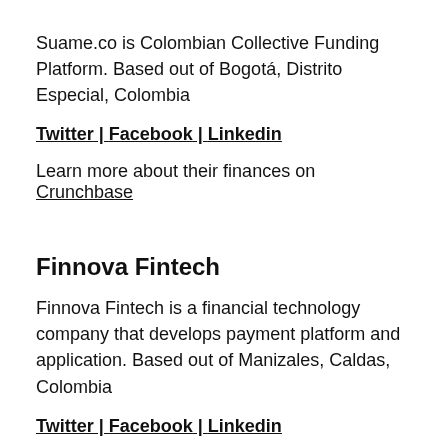Suame.co is Colombian Collective Funding Platform. Based out of Bogotá, Distrito Especial, Colombia
Twitter | Facebook | Linkedin
Learn more about their finances on Crunchbase
Finnova Fintech
Finnova Fintech is a financial technology company that develops payment platform and application. Based out of Manizales, Caldas, Colombia
Twitter | Facebook | Linkedin
Learn more about their finances on Crunchbase